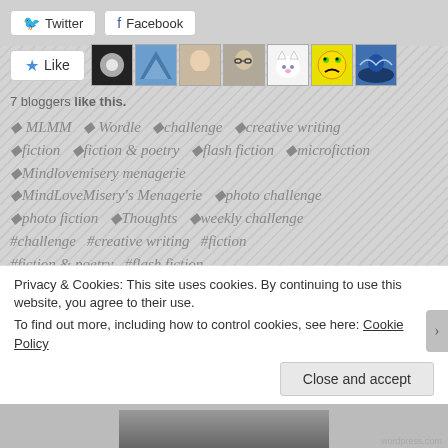[Figure (screenshot): Twitter and Facebook share buttons at top]
[Figure (screenshot): Like button with star icon and 7 blogger avatar thumbnails]
7 bloggers like this.
◆ MLMM  ◆ Wordle  ◆challenge  ◆creative writing ◆fiction  ◆fiction & poetry  ◆flash fiction  ◆microfiction ◆Mindlovemisery menagerie ◆MindLoveMisery's Menagerie  ◆photo challenge ◆photo fiction  ◆Thoughts  ◆weekly challenge #challenge  #creative writing  #fiction #fiction & poetry  #flash fiction #mindlovemisery's-menargerie #MindLoveMisery's Menagerie  #MMLM #photo challenge  #photo fiction  #thoughts
Privacy & Cookies: This site uses cookies. By continuing to use this website, you agree to their use.
To find out more, including how to control cookies, see here: Cookie Policy
Close and accept